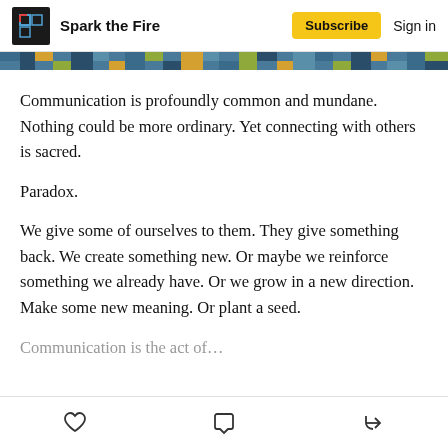Spark the Fire | Subscribe | Sign in
[Figure (photo): Decorative mosaic or textile pattern strip in blue, yellow, and green tones]
Communication is profoundly common and mundane. Nothing could be more ordinary. Yet connecting with others is sacred.
Paradox.
We give some of ourselves to them. They give something back. We create something new. Or maybe we reinforce something we already have. Or we grow in a new direction. Make some new meaning. Or plant a seed.
[heart icon] [comment icon] [share icon]